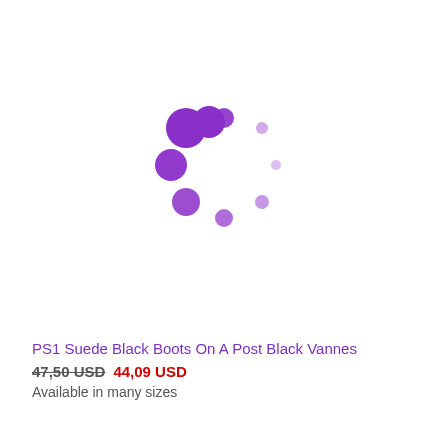[Figure (other): Purple spinning/loading indicator dots arranged in a circle, showing a loading animation state where a product image would normally appear.]
PS1 Suede Black Boots On A Post Black Vannes
47,50 USD  44,09 USD
Available in many sizes